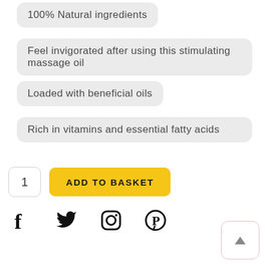100% Natural ingredients
Feel invigorated after using this stimulating massage oil
Loaded with beneficial oils
Rich in vitamins and essential fatty acids
1  ADD TO BASKET
[Figure (other): Social media icons: Facebook, Twitter, Instagram, Pinterest]